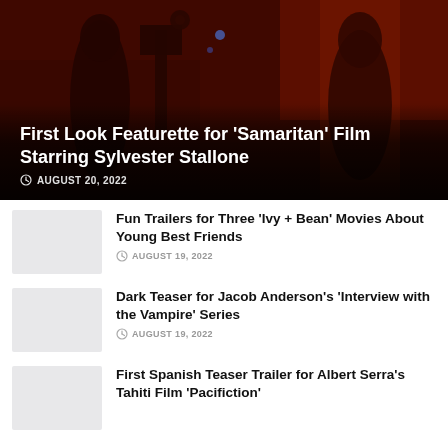[Figure (photo): Dark reddish movie scene with two people, one with camera equipment, set on a film set with red lighting]
First Look Featurette for 'Samaritan' Film Starring Sylvester Stallone
AUGUST 20, 2022
[Figure (photo): Thumbnail image for Ivy + Bean article]
Fun Trailers for Three 'Ivy + Bean' Movies About Young Best Friends
AUGUST 19, 2022
[Figure (photo): Thumbnail image for Interview with the Vampire article]
Dark Teaser for Jacob Anderson's 'Interview with the Vampire' Series
AUGUST 19, 2022
[Figure (photo): Thumbnail image for Pacifiction article]
First Spanish Teaser Trailer for Albert Serra's Tahiti Film 'Pacifiction'